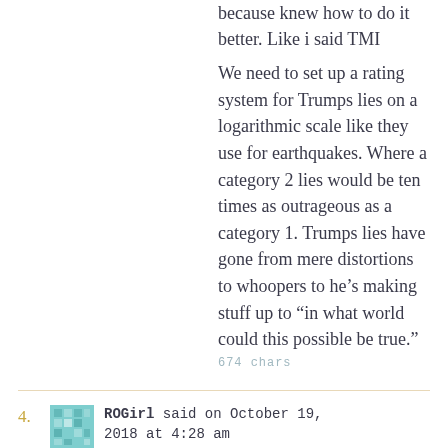because knew how to do it better. Like i said TMI
We need to set up a rating system for Trumps lies on a logarithmic scale like they use for earthquakes. Where a category 2 lies would be ten times as outrageous as a category 1. Trumps lies have gone from mere distortions to whoopers to he’s making stuff up to “in what world could this possible be true.”
674 chars
4.
ROGirl said on October 19, 2018 at 4:28 am